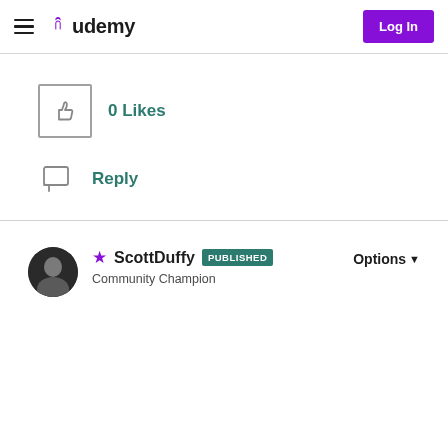Udemy — Log In
[Figure (screenshot): Thumbs up like button showing 0 Likes]
0 Likes
[Figure (screenshot): Reply icon button]
Reply
[Figure (photo): Profile photo of ScottDuffy]
ScottDuffy PUBLISHED Community Champion
Options